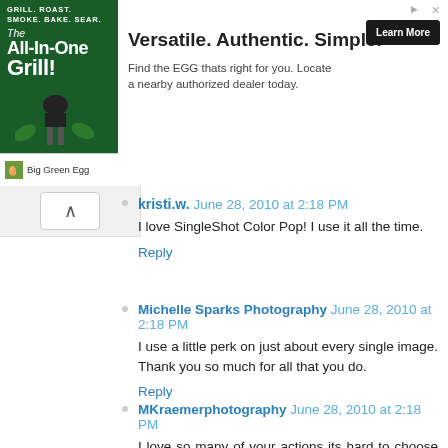[Figure (other): Big Green Egg advertisement banner showing The All-In-One Grill with taglines GRILL. ROAST. SMOKE. BAKE. SEAR. and headline Versatile. Authentic. Simple. with Learn More button]
kristi.w. June 28, 2010 at 2:18 PM
I love SingleShot Color Pop! I use it all the time.
Reply
Michelle Sparks Photography June 28, 2010 at 2:18 PM
I use a little perk on just about every single image. Thank you so much for all that you do.
Reply
MKraemerphotography June 28, 2010 at 2:18 PM
I love so many of your actions its hard to choose my favorite, but I would have to say I use the perfect portrait